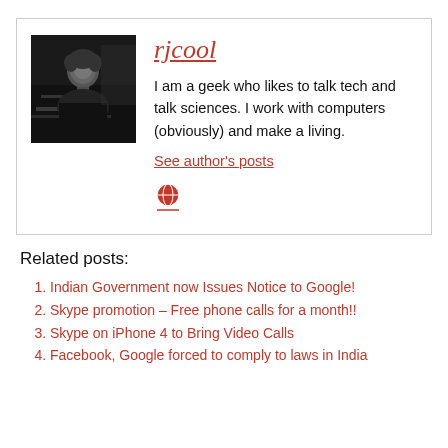[Figure (photo): Black and white profile photo of a man in a dark setting]
rjcool
I am a geek who likes to talk tech and talk sciences. I work with computers (obviously) and make a living.
See author's posts
[Figure (illustration): Red globe/person icon with underline]
Related posts:
Indian Government now Issues Notice to Google!
Skype promotion – Free phone calls for a month!!
Skype on iPhone 4 to Bring Video Calls
Facebook, Google forced to comply to laws in India